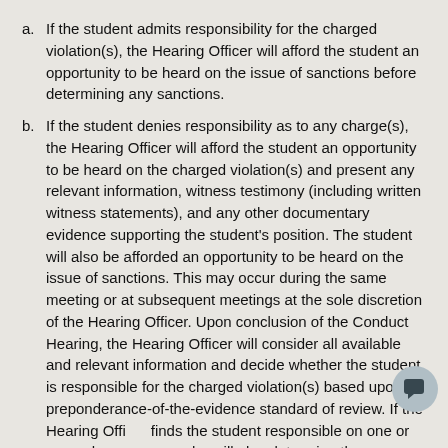a. If the student admits responsibility for the charged violation(s), the Hearing Officer will afford the student an opportunity to be heard on the issue of sanctions before determining any sanctions.
b. If the student denies responsibility as to any charge(s), the Hearing Officer will afford the student an opportunity to be heard on the charged violation(s) and present any relevant information, witness testimony (including written witness statements), and any other documentary evidence supporting the student’s position. The student will also be afforded an opportunity to be heard on the issue of sanctions. This may occur during the same meeting or at subsequent meetings at the sole discretion of the Hearing Officer. Upon conclusion of the Conduct Hearing, the Hearing Officer will consider all available and relevant information and decide whether the student is responsible for the charged violation(s) based upon a preponderance-of-the-evidence standard of review. If the Hearing Officer finds the student responsible on one or more charges, he or she will also determine the appropriate sanctions. The